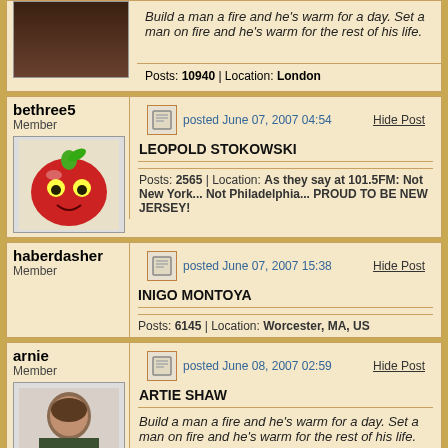Build a man a fire and he's warm for a day. Set a man on fire and he's warm for the rest of his life.
Posts: 10940 | Location: London
bethree5 Member
posted June 07, 2007 04:54
Hide Post
LEOPOLD STOKOWSKI
Posts: 2565 | Location: As they say at 101.5FM: Not New York... Not Philadelphia... PROUD TO BE NEW JERSEY!
haberdasher Member
posted June 07, 2007 15:38
Hide Post
INIGO MONTOYA
Posts: 6145 | Location: Worcester, MA, US
arnie Member
posted June 08, 2007 02:59
Hide Post
ARTIE SHAW
Build a man a fire and he's warm for a day. Set a man on fire and he's warm for the rest of his life.
Posts: 10940 | Location: London